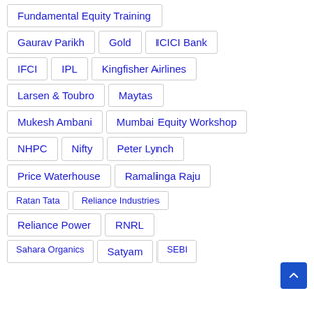Fundamental Equity Training
Gaurav Parikh
Gold
ICICI Bank
IFCI
IPL
Kingfisher Airlines
Larsen & Toubro
Maytas
Mukesh Ambani
Mumbai Equity Workshop
NHPC
Nifty
Peter Lynch
Price Waterhouse
Ramalinga Raju
Ratan Tata
Reliance Industries
Reliance Power
RNRL
Sahara Organics
Satyam
SEBI